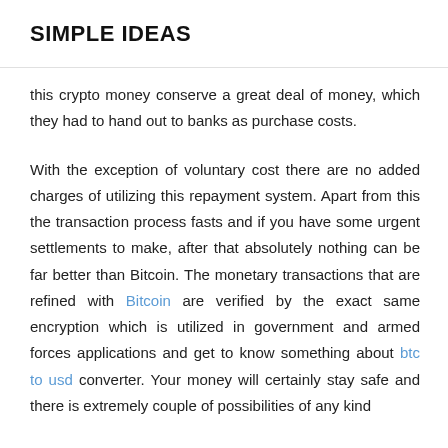SIMPLE IDEAS
this crypto money conserve a great deal of money, which they had to hand out to banks as purchase costs.
With the exception of voluntary cost there are no added charges of utilizing this repayment system. Apart from this the transaction process fasts and if you have some urgent settlements to make, after that absolutely nothing can be far better than Bitcoin. The monetary transactions that are refined with Bitcoin are verified by the exact same encryption which is utilized in government and armed forces applications and get to know something about btc to usd converter. Your money will certainly stay safe and there is extremely couple of possibilities of any kind